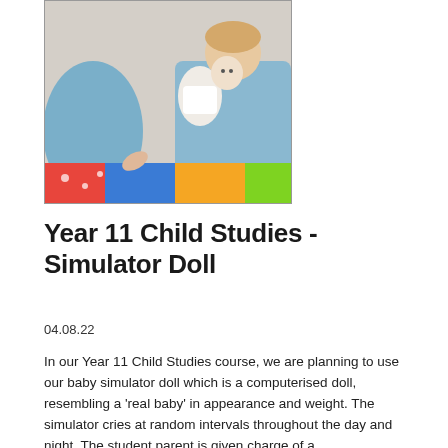[Figure (photo): Two people in blue clothing handling a baby simulator doll on a colourful mat]
Year 11 Child Studies - Simulator Doll
04.08.22
In our Year 11 Child Studies course, we are planning to use our baby simulator doll which is a computerised doll, resembling a 'real baby' in appearance and weight.  The simulator cries at random intervals throughout the day and night.  The student parent is given charge of a